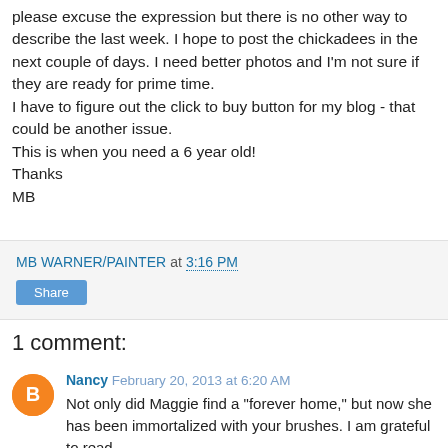please excuse the expression but there is no other way to describe the last week. I hope to post the chickadees in the next couple of days. I need better photos and I'm not sure if they are ready for prime time.
I have to figure out the click to buy button for my blog - that could be another issue.
This is when you need a 6 year old!
Thanks
MB
MB WARNER/PAINTER at 3:16 PM
Share
1 comment:
Nancy February 20, 2013 at 6:20 AM
Not only did Maggie find a "forever home," but now she has been immortalized with your brushes. I am grateful to read